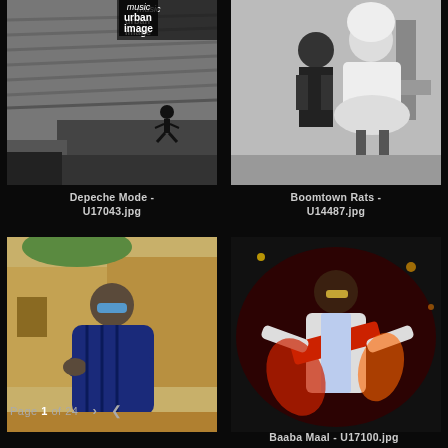[Figure (photo): Black and white photo of Depeche Mode performing on stage in a large stadium, with a performer jumping]
Depeche Mode - U17043.jpg
[Figure (photo): Black and white photo of two Boomtown Rats members, one in dark clothing and one in a white fluffy dress]
Boomtown Rats - U14487.jpg
[Figure (photo): Color photo of a person in a dark blue robe with sunglasses posing against a mud wall]
[Figure (photo): Color photo of Baaba Maal performing on stage in colorful traditional costume]
Page 1 of 24
Baaba Maal - U17100.jpg